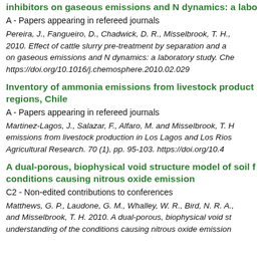inhibitors on gaseous emissions and N dynamics: a labo
A - Papers appearing in refereed journals
Pereira, J., Fangueiro, D., Chadwick, D. R., Misselbrook, T. H., 2010. Effect of cattle slurry pre-treatment by separation and a on gaseous emissions and N dynamics: a laboratory study. Che https://doi.org/10.1016/j.chemosphere.2010.02.029
Inventory of ammonia emissions from livestock product regions, Chile
A - Papers appearing in refereed journals
Martinez-Lagos, J., Salazar, F., Alfaro, M. and Misselbrook, T. H emissions from livestock production in Los Lagos and Los Rios Agricultural Research. 70 (1), pp. 95-103. https://doi.org/10.4
A dual-porous, biophysical void structure model of soil f conditions causing nitrous oxide emission
C2 - Non-edited contributions to conferences
Matthews, G. P., Laudone, G. M., Whalley, W. R., Bird, N. R. A., and Misselbrook, T. H. 2010. A dual-porous, biophysical void st understanding of the conditions causing nitrous oxide emission